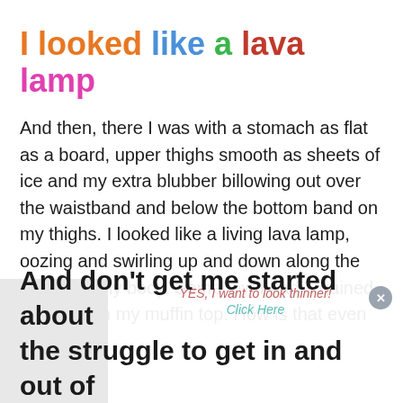I looked like a lava lamp
And then, there I was with a stomach as flat as a board, upper thighs smooth as sheets of ice and my extra blubber billowing out over the waistband and below the bottom band on my thighs. I looked like a living lava lamp, oozing and swirling up and down along the middle of my body. Somehow I had a gained a wedgie in my muffin top. How is that even possible?
And don't get me started about the struggle to get in and out of